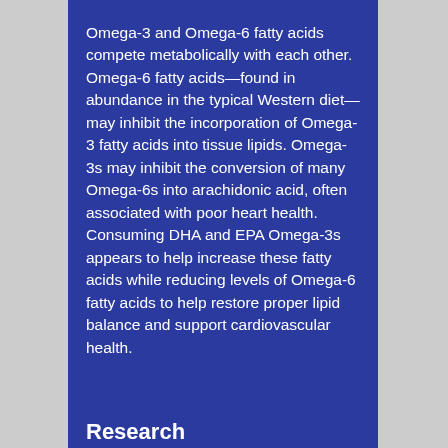Omega-3 and Omega-6 fatty acids compete metabolically with each other. Omega-6 fatty acids—found in abundance in the typical Western diet—may inhibit the incorporation of Omega-3 fatty acids into tissue lipids. Omega-3s may inhibit the conversion of many Omega-6s into arachidonic acid, often associated with poor heart health. Consuming DHA and EPA Omega-3s appears to help increase these fatty acids while reducing levels of Omega-6 fatty acids to help restore proper lipid balance and support cardiovascular health.
Research
References